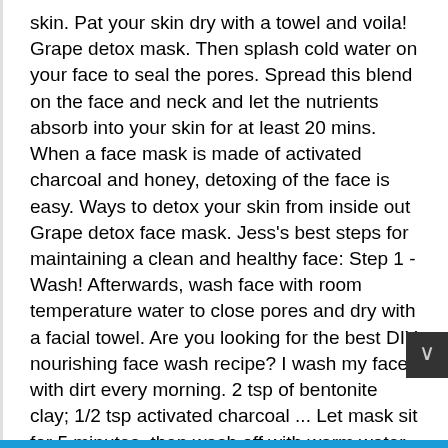skin. Pat your skin dry with a towel and voila! Grape detox mask. Then splash cold water on your face to seal the pores. Spread this blend on the face and neck and let the nutrients absorb into your skin for at least 20 mins. When a face mask is made of activated charcoal and honey, detoxing of the face is easy. Ways to detox your skin from inside out Grape detox face mask. Jess's best steps for maintaining a clean and healthy face: Step 1 - Wash! Afterwards, wash face with room temperature water to close pores and dry with a facial towel. Are you looking for the best DIY nourishing face wash recipe? I wash my face with dirt every morning. 2 tsp of bentonite clay; 1/2 tsp activated charcoal ... Let mask sit for 5 minutes, then wash off with warm water and a wash cloth. A body detox cleanse doesnât always have to be harsh and miserable. Is easy cleanser - sensitive skin Purifier OliveDrabFarm the